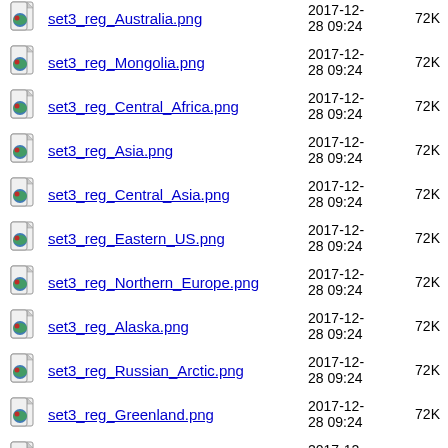set3_reg_Australia.png  2017-12-28 09:24  72K
set3_reg_Mongolia.png  2017-12-28 09:24  72K
set3_reg_Central_Africa.png  2017-12-28 09:24  72K
set3_reg_Asia.png  2017-12-28 09:24  72K
set3_reg_Central_Asia.png  2017-12-28 09:24  72K
set3_reg_Eastern_US.png  2017-12-28 09:24  72K
set3_reg_Northern_Europe.png  2017-12-28 09:24  72K
set3_reg_Alaska.png  2017-12-28 09:24  72K
set3_reg_Russian_Arctic.png  2017-12-28 09:24  72K
set3_reg_Greenland.png  2017-12-28 09:24  72K
set3_reg_Southern_Africa.png  2017-12-28 09:24  72K
set3_reg_Mediterranean.png  2017-12-28 09:24  72K